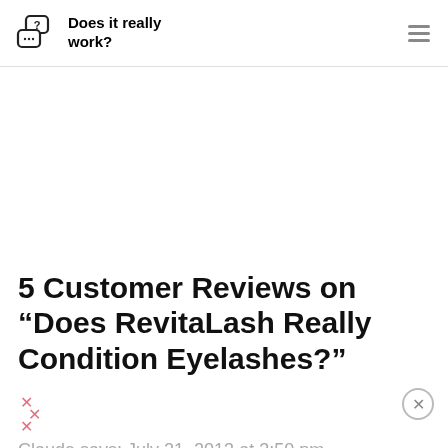Does it really work?
[Figure (other): Advertisement / blank white space area]
5 Customer Reviews on “Does RevitaLash Really Condition Eyelashes?”
[Figure (other): Pink/rose star rating icons (decorative stars)]
Claude says: July 21, 2013 at 3:50 pm